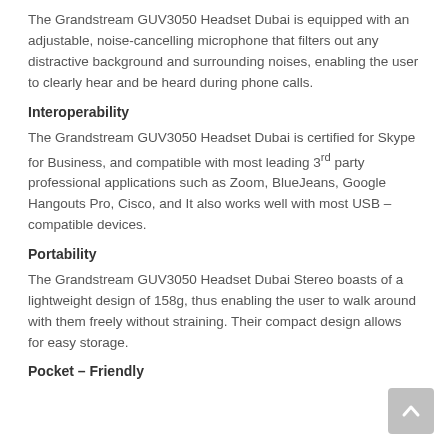The Grandstream GUV3050 Headset Dubai is equipped with an adjustable, noise-cancelling microphone that filters out any distractive background and surrounding noises, enabling the user to clearly hear and be heard during phone calls.
Interoperability
The Grandstream GUV3050 Headset Dubai is certified for Skype for Business, and compatible with most leading 3rd party professional applications such as Zoom, BlueJeans, Google Hangouts Pro, Cisco, and It also works well with most USB – compatible devices.
Portability
The Grandstream GUV3050 Headset Dubai Stereo boasts of a lightweight design of 158g, thus enabling the user to walk around with them freely without straining. Their compact design allows for easy storage.
Pocket – Friendly